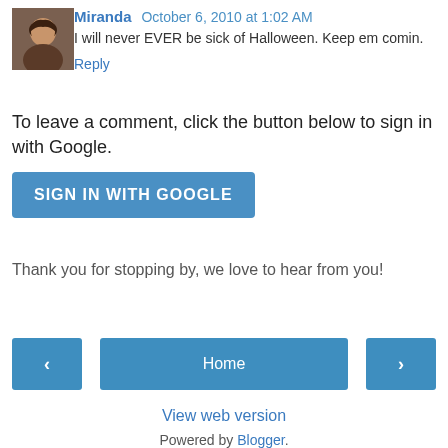[Figure (photo): Avatar photo of commenter Miranda, a woman with dark hair]
Miranda  October 6, 2010 at 1:02 AM
I will never EVER be sick of Halloween. Keep em comin.
Reply
To leave a comment, click the button below to sign in with Google.
SIGN IN WITH GOOGLE
Thank you for stopping by, we love to hear from you!
‹
Home
›
View web version
Powered by Blogger.